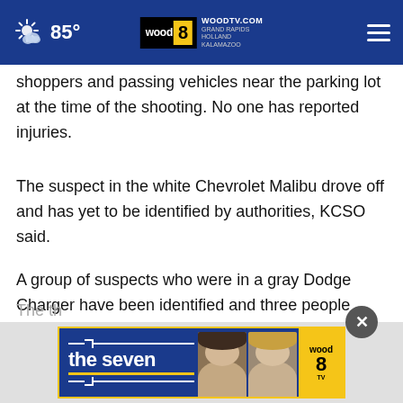85° WOODTV.COM GRAND RAPIDS HOLLAND KALAMAZOO wood 8 tv
shoppers and passing vehicles near the parking lot at the time of the shooting. No one has reported injuries.
The suspect in the white Chevrolet Malibu drove off and has yet to be identified by authorities, KCSO said.
A group of suspects who were in a gray Dodge Charger have been identified and three people have been arrested, KCSO said. They were seen on video surveillance firing multiple rounds at the suspects in Malibu.
The th
[Figure (screenshot): Advertisement banner for 'the seven' program on Wood TV 8, featuring two female news anchors and the Wood 8 TV logo with yellow accent.]